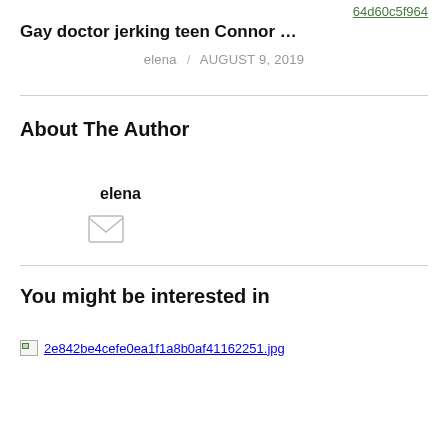64d60c5f964
Gay doctor jerking teen Connor was eager vi...
elena / AUGUST 9, 2019
About The Author
elena
[Figure (illustration): Envelope/mail icon]
You might be interested in
[Figure (photo): Broken image placeholder linking to 2e842be4cefe0ea1f1a8b0af41162251.jpg]